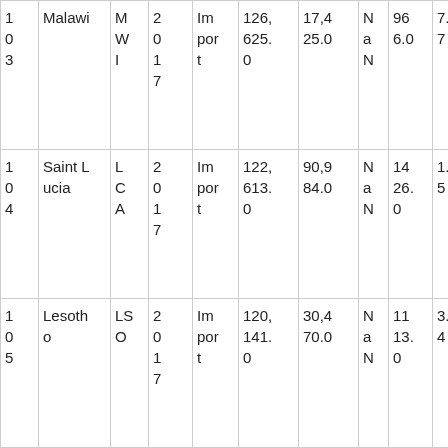| 1
0
3 | Malawi | M
W
I | 2
0
1
7 | Im
por
t | 126,
625.
0 | 17,4
25.0 | N
a
N | 96
6.0 | 7.2
7 |
| 1
0
4 | Saint L
ucia | L
C
A | 2
0
1
7 | Im
por
t | 122,
613.
0 | 90,9
84.0 | N
a
N | 14
26.
0 | 1.3
5 |
| 1
0
5 | Lesoth
o | LS
O | 2
0
1
7 | Im
por
t | 120,
141.
0 | 30,4
70.0 | N
a
N | 11
13.
0 | 3.9
4 |